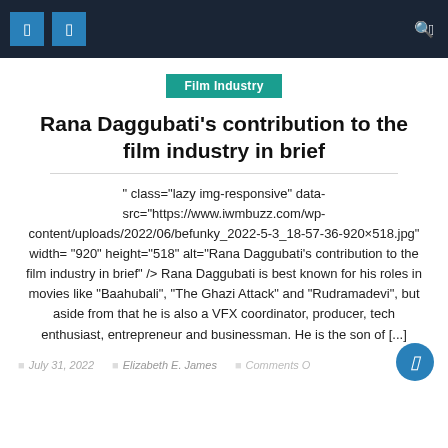Navigation bar with icons
Film Industry
Rana Daggubati's contribution to the film industry in brief
" class="lazy img-responsive" data-src="https://www.iwmbuzz.com/wp-content/uploads/2022/06/befunky_2022-5-3_18-57-36-920×518.jpg" width= "920" height="518" alt="Rana Daggubati's contribution to the film industry in brief" /> Rana Daggubati is best known for his roles in movies like "Baahubali", "The Ghazi Attack" and "Rudramadevi", but aside from that he is also a VFX coordinator, producer, tech enthusiast, entrepreneur and businessman. He is the son of [...]
July 31, 2022   Elizabeth E. James   Comments O